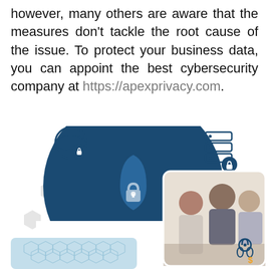however, many others are aware that the measures don't tackle the root cause of the issue. To protect your business data, you can appoint the best cybersecurity company at https://apexprivacy.com.
[Figure (illustration): Cybersecurity infographic with a dark blue shield/lock shape in the center on a white background, icons for globe with shield and server with lock at the top left and top right, gray hexagons scattered around, a photo of business professionals collaborating at the right, and a light blue network pattern panel at the bottom left.]